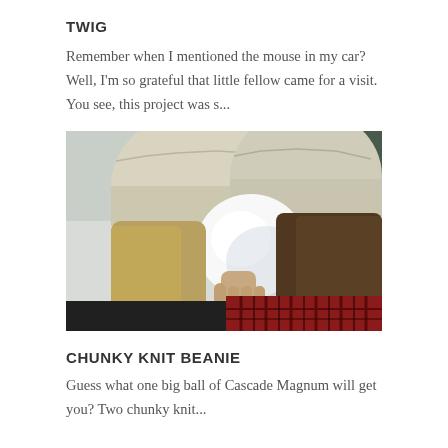TWIG
Remember when I mentioned the mouse in my car?  Well, I'm so grateful that little fellow came for a visit.  You see, this project was s...
[Figure (photo): Two women wearing chunky knit beanies, one holding a large snowball up to cover their faces, standing outdoors in a snowy winter setting.]
CHUNKY KNIT BEANIE
Guess what one big ball of Cascade Magnum will get you? Two chunky knit...